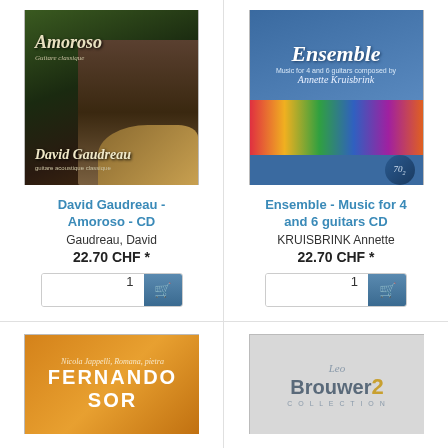[Figure (photo): CD cover for Amoroso by David Gaudreau - shows a man with long hair playing guitar against a green background]
David Gaudreau - Amoroso - CD
Gaudreau, David
22.70 CHF *
[Figure (photo): CD cover for Ensemble - Music for 4 and 6 guitars composed by Annette Kruisbrink - blue cover with colorful artwork]
Ensemble - Music for 4 and 6 guitars CD
KRUISBRINK Annette
22.70 CHF *
[Figure (photo): CD cover for Fernando Sor - orange/yellow cover with text Nicola Jappelli and FERNANDO SOR]
[Figure (photo): CD/book cover for Leo Brouwer 2 - grey cover with text Leo Brouwer and number 2]